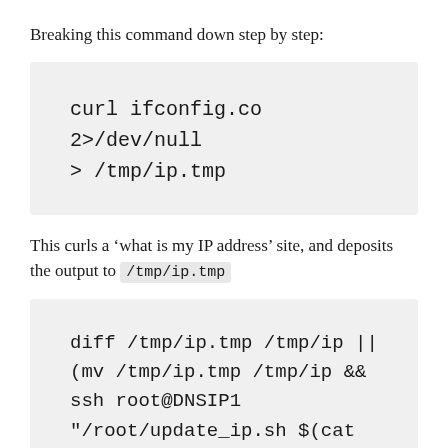Breaking this command down step by step:
curl ifconfig.co 2>/dev/null
> /tmp/ip.tmp
This curls a ‘what is my IP address’ site, and deposits the output to /tmp/ip.tmp
diff /tmp/ip.tmp /tmp/ip ||
(mv /tmp/ip.tmp /tmp/ip &&
ssh root@DNSIP1
"/root/update_ip.sh $(cat
/tmp/ip))